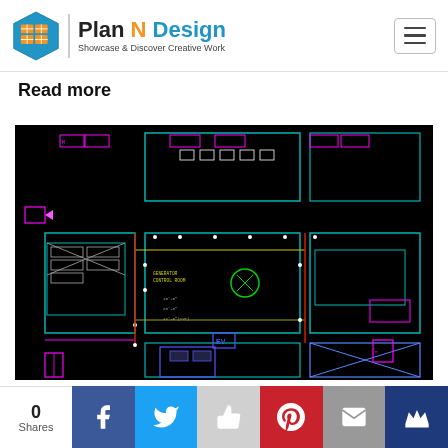Plan N Design – Showcase & Discover Creative Work
Read more
[Figure (engineering-diagram): CAD floor plan / electrical layout drawing on black background, showing rooms, equipment, wiring, and annotations in magenta, cyan, yellow, blue, and red lines on a dark/black background.]
0 Shares | Facebook | Twitter | Like | Pinterest | Email | Crown